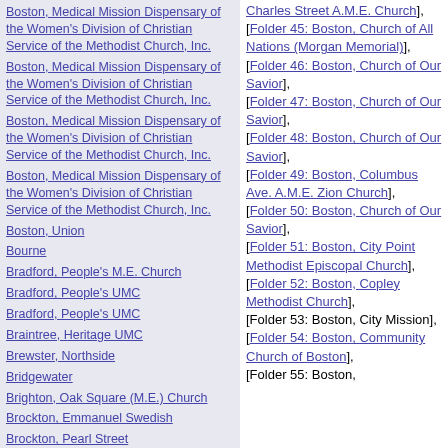Boston, Medical Mission Dispensary of the Women's Division of Christian Service of the Methodist Church, Inc.
Boston, Medical Mission Dispensary of the Women's Division of Christian Service of the Methodist Church, Inc.
Boston, Medical Mission Dispensary of the Women's Division of Christian Service of the Methodist Church, Inc.
Boston, Medical Mission Dispensary of the Women's Division of Christian Service of the Methodist Church, Inc.
Boston, Union
Bourne
Bradford, People's M.E. Church
Bradford, People's UMC
Bradford, People's UMC
Braintree, Heritage UMC
Brewster, Northside
Bridgewater
Brighton, Oak Square (M.E.) Church
Brockton, Emmanuel Swedish
Brockton, Pearl Street
Brockton, Pentecost UMC (formerly South St.)
Brockton, Franklin Methodist Episcopal
Brockton, South Street; Central; Lithuanian M.E. Church
Brockton, South Street; Central; Lithuanian M.E. Church
Charles Street A.M.E. Church], [Folder 45: Boston, Church of All Nations (Morgan Memorial)], [Folder 46: Boston, Church of Our Savior], [Folder 47: Boston, Church of Our Savior], [Folder 48: Boston, Church of Our Savior], [Folder 49: Boston, Columbus Ave. A.M.E. Zion Church], [Folder 50: Boston, Church of Our Savior], [Folder 51: Boston, City Point Methodist Episcopal Church], [Folder 52: Boston, Copley Methodist Church], [Folder 53: Boston, City Mission], [Folder 54: Boston, Community Church of Boston], [Folder 55: Boston,